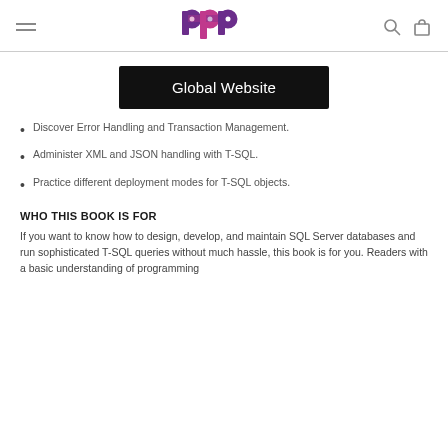BPB Global Website
[Figure (logo): BPB publisher logo — stylized letters b, p, b in purple and magenta]
Global Website
Discover Error Handling and Transaction Management.
Administer XML and JSON handling with T-SQL.
Practice different deployment modes for T-SQL objects.
WHO THIS BOOK IS FOR
If you want to know how to design, develop, and maintain SQL Server databases and run sophisticated T-SQL queries without much hassle, this book is for you. Readers with a basic understanding of programming